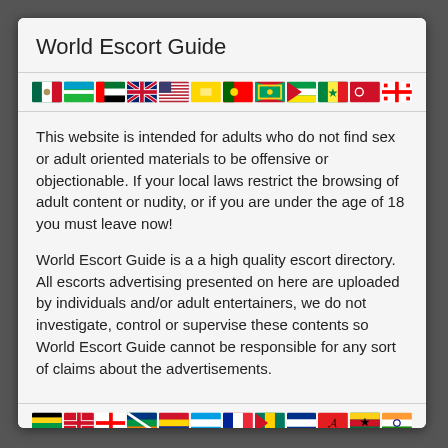World Escort Guide
[Figure (illustration): Row of 12 small country flag icons]
This website is intended for adults who do not find sex or adult oriented materials to be offensive or objectionable. If your local laws restrict the browsing of adult content or nudity, or if you are under the age of 18 you must leave now!
World Escort Guide is a a high quality escort directory. All escorts advertising presented on here are uploaded by individuals and/or adult entertainers, we do not investigate, control or supervise these contents so World Escort Guide cannot be responsible for any sort of claims about the advertisements.
[Figure (illustration): Row of 12 small country flag icons (bottom row)]